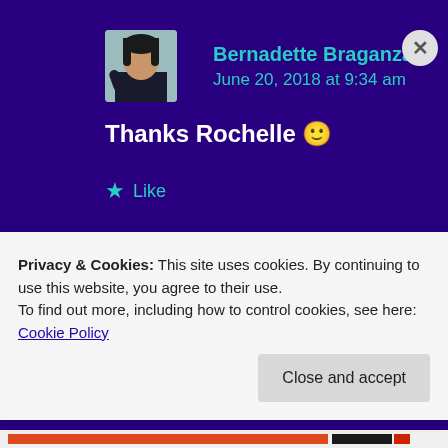[Figure (screenshot): Blog comment section screenshot with user avatar, name Bernadette Braganza, date June 20, 2018 at 9:34 am, comment text 'Thanks Rochelle 🙂', a Like button, and a Reply link, all on a deep purple background. A cookie consent banner overlaps the lower portion.]
Bernadette Braganza
June 20, 2018 at 9:34 am
Thanks Rochelle 🙂
Like
Reply
Privacy & Cookies: This site uses cookies. By continuing to use this website, you agree to their use.
To find out more, including how to control cookies, see here: Cookie Policy
Close and accept